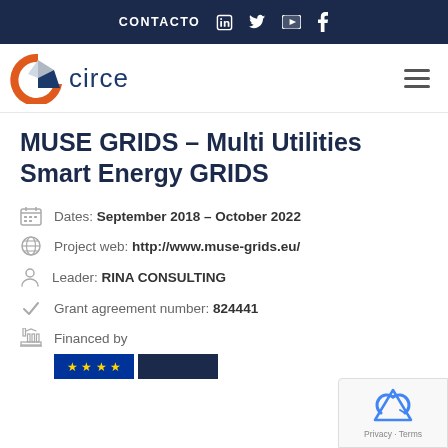CONTACTO  in  twitter  youtube  f
[Figure (logo): CIRCE foundation logo with orange C and blue wedge shapes, followed by the word 'circe' in dark blue]
MUSE GRIDS - Multi Utilities Smart Energy GRIDS
Dates: September 2018 – October 2022
Project web: http://www.muse-grids.eu/
Leader: RINA CONSULTING
Grant agreement number: 824441
Financed by
[Figure (logo): EU flag (blue with yellow stars) and a dark blue banner/logo block]